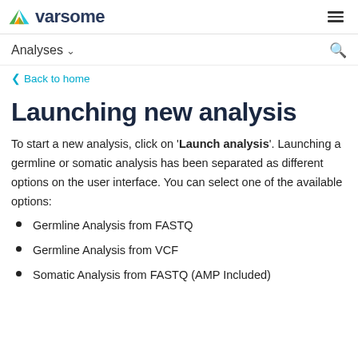varsome
Analyses
Back to home
Launching new analysis
To start a new analysis, click on 'Launch analysis'. Launching a germline or somatic analysis has been separated as different options on the user interface. You can select one of the available options:
Germline Analysis from FASTQ
Germline Analysis from VCF
Somatic Analysis from FASTQ (AMP Included)